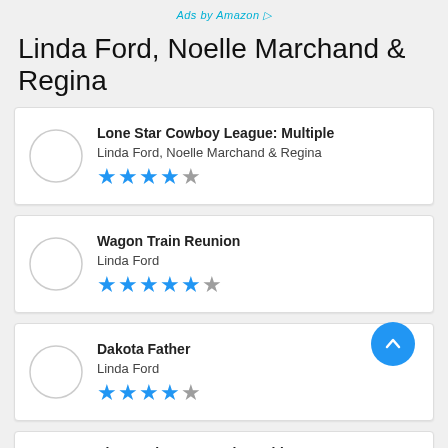Ads by Amazon
Linda Ford, Noelle Marchand & Regina
Lone Star Cowboy League: Multiple
Linda Ford, Noelle Marchand & Regina
★★★★☆
Wagon Train Reunion
Linda Ford
★★★★★☆
Dakota Father
Linda Ford
★★★★☆
The Cowboy's Surprise Bride
Linda Ford